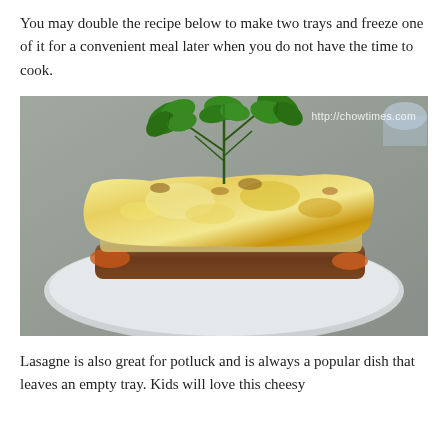You may double the recipe below to make two trays and freeze one of it for a convenient meal later when you do not have the time to cook.
[Figure (photo): Close-up photo of a serving of cheesy lasagne on a white plate, garnished with fresh parsley sprigs on top. The lasagne shows golden-brown melted cheese on top with visible meat and sauce layers. Watermark reads http://chowtimes.com in the upper right corner.]
Lasagne is also great for potluck and is always a popular dish that leaves an empty tray. Kids will love this cheesy